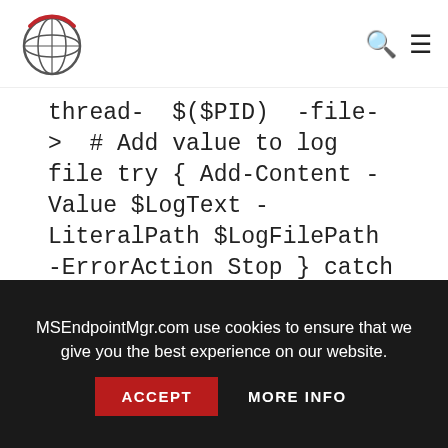MSEndpointMgr.com logo with search and menu icons
thread- $(#PID) -file- > # Add value to log file try { Add-Content -Value $LogText -LiteralPath $LogFilePath -ErrorAction Stop } catch [System.Exception] { Write-Warning -Message "Unable to append log entry to EnableUbuntuforWindows.log file" } } # Write beginning of log file Write-CMLogEntry -Value "Starting configuration for Windows Subsystem for Linux" -Severity 1 # Create AppModelUnlock if it doesn't exist, required for enabling Developer Mode $RegistryKeyPath = "HKLM:\SOFTWARE\Microsoft\Windows\CurrentV
MSEndpointMgr.com use cookies to ensure that we give you the best experience on our website.
ACCEPT   MORE INFO